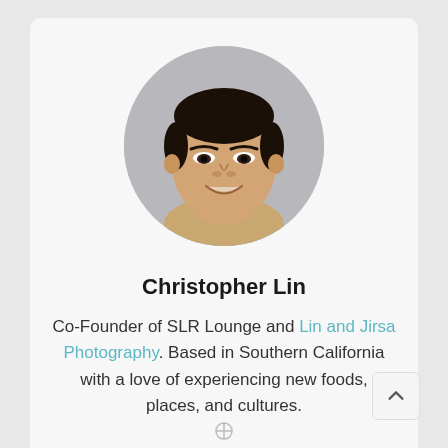[Figure (photo): Circular headshot portrait of Christopher Lin, an Asian man smiling, wearing a beige blazer and light blue collared shirt, against a grey background.]
Christopher Lin
Co-Founder of SLR Lounge and Lin and Jirsa Photography. Based in Southern California with a love of experiencing new foods, places, and cultures.